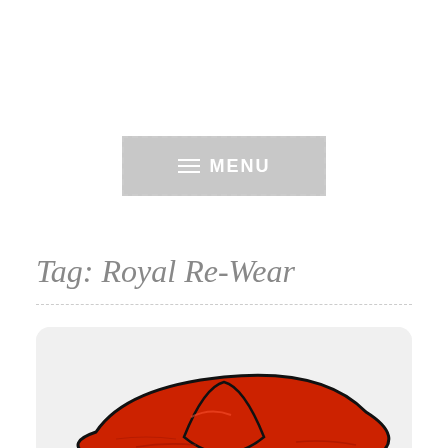≡ MENU
Tag: Royal Re-Wear
[Figure (illustration): Illustrated image of a woman wearing a large red hat, shown from the shoulders up, with golden/blonde hair visible below the hat. The illustration uses bold outlines and flat color in a comic/fashion illustration style. Displayed inside a rounded-corner card with light gray background.]